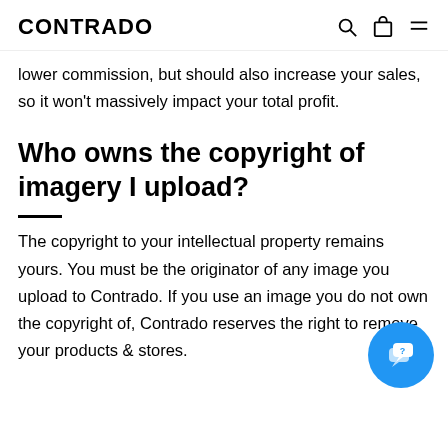CONTRADO
lower commission, but should also increase your sales, so it won't massively impact your total profit.
Who owns the copyright of imagery I upload?
The copyright to your intellectual property remains yours. You must be the originator of any image you upload to Contrado. If you use an image you do not own the copyright of, Contrado reserves the right to remove your products & stores.